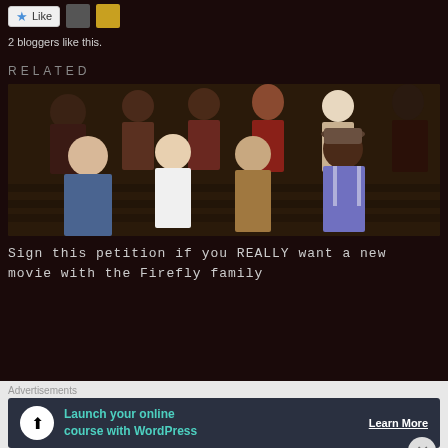[Figure (other): Like button with star icon and two user avatar thumbnails]
2 bloggers like this.
RELATED
[Figure (photo): Group photo of people in costumes sitting on steps, characters from the Firefly/Rob Zombie family movie]
Sign this petition if you REALLY want a new movie with the Firefly family
Advertisements
[Figure (other): Advertisement banner: Launch your online course with WordPress — Learn More button]